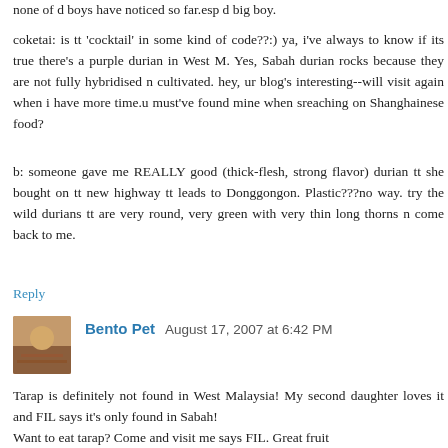none of d boys have noticed so far.esp d big boy.
coketai: is tt 'cocktail' in some kind of code??:) ya, i've always to know if its true there's a purple durian in West M. Yes, Sabah durian rocks because they are not fully hybridised n cultivated. hey, ur blog's interesting--will visit again when i have more time.u must've found mine when sreaching on Shanghainese food?
b: someone gave me REALLY good (thick-flesh, strong flavor) durian tt she bought on tt new highway tt leads to Donggongon. Plastic???no way. try the wild durians tt are very round, very green with very thin long thorns n come back to me.
Reply
Bento Pet August 17, 2007 at 6:42 PM
Tarap is definitely not found in West Malaysia! My second daughter loves it and FIL says it's only found in Sabah!
Want to eat tarap? Come and visit me says FIL. Great fruit